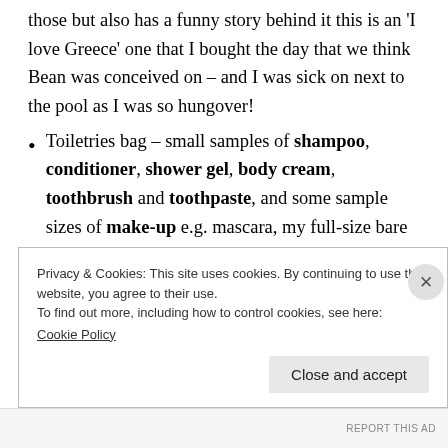those but also has a funny story behind it this is an 'I love Greece' one that I bought the day that we think Bean was conceived on – and I was sick on next to the pool as I was so hungover!
Toiletries bag – small samples of shampoo, conditioner, shower gel, body cream, toothbrush and toothpaste, and some sample sizes of make-up e.g. mascara, my full-size bare minerals make-up, deodorant and some nipple cream remnants (lansinoh
Privacy & Cookies: This site uses cookies. By continuing to use this website, you agree to their use.
To find out more, including how to control cookies, see here:
Cookie Policy